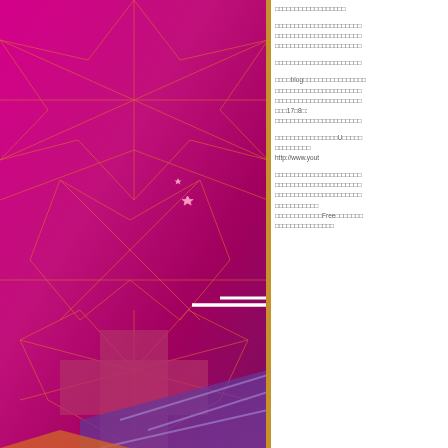[Figure (illustration): Abstract geometric background with pink/magenta and purple gradient, overlaid with orange geometric line patterns forming star/polygon shapes, a cross shape in the center, and a purple parallelogram overlay with diagonal light stripes. A white horizontal line appears in the center.]
□□□□□□□□□□□□□□□□□□

□□□□□□□□□□□□□□□□□□□□□□
□□□□□□□□□□□□□□□□□□□□□□
□□□□□□□□□□□□□□□□□□□□□□

□□□□□□□□□□□□□□□□□□□□□□


□□□□blog□□□□□□□□□□□□□□□□
□□□□□□□□□□□□□□□□□□□□□□
□□□□□□□□□□□□□□□□□□□□□□
□□□17□8□:
□□□□□□□□□□□□□□□□□□□□□□

□□□□□□□□□□□□□□□□U□□□□□
□□□□□□□□□
http://www.yout

□□□□□□□□□□□□□□□□□□□□□□
□□□□□□□□□□□□□□□□□□□□□□
□□□□□□□□□□□□□□□□□□□□□□
□□□□□□□□□□□
□□□□□□□□□□□□Free□□□□□□□
□□□□□□□□□□□□□□□